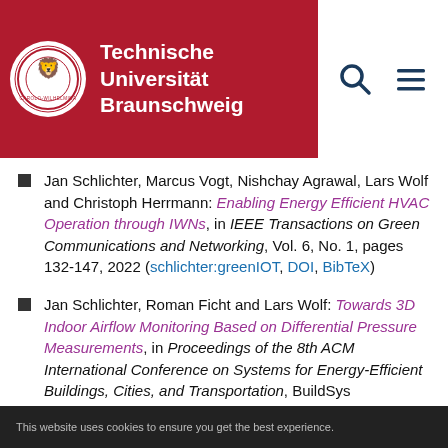Technische Universität Braunschweig
Jan Schlichter, Marcus Vogt, Nishchay Agrawal, Lars Wolf and Christoph Herrmann: Enabling Energy Efficient HVAC Operation through IWNs, in IEEE Transactions on Green Communications and Networking, Vol. 6, No. 1, pages 132-147, 2022 (schlichter:greenIOT, DOI, BibTeX)
Jan Schlichter, Roman Ficht and Lars Wolf: Towards 3D Indoor Airflow Monitoring Based on Differential Pressure Measurements, in Proceedings of the 8th ACM International Conference on Systems for Energy-Efficient Buildings, Cities, and Transportation, BuildSys
This website uses cookies to ensure you get the best experience.